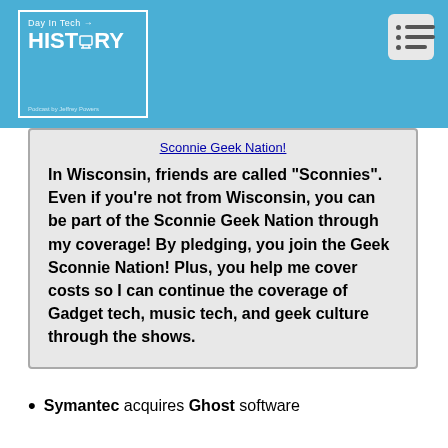[Figure (logo): Day In Tech HISTORY podcast logo with blue background and white border, podcast hosted by Jeffrey Powers]
Sconnie Geek Nation!
In Wisconsin, friends are called "Sconnies". Even if you're not from Wisconsin, you can be part of the Sconnie Geek Nation through my coverage! By pledging, you join the Geek Sconnie Nation! Plus, you help me cover costs so I can continue the coverage of Gadget tech, music tech, and geek culture through the shows.
Symantec acquires Ghost software